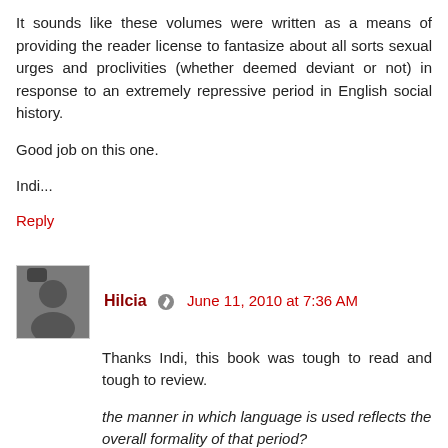It sounds like these volumes were written as a means of providing the reader license to fantasize about all sorts sexual urges and proclivities (whether deemed deviant or not) in response to an extremely repressive period in English social history.
Good job on this one.
Indi...
Reply
Hilcia  June 11, 2010 at 7:36 AM
Thanks Indi, this book was tough to read and tough to review.
the manner in which language is used reflects the overall formality of that period?
Yes, it does. This is exactly what I was looking for when I chose this book. However, interestingly enough, for